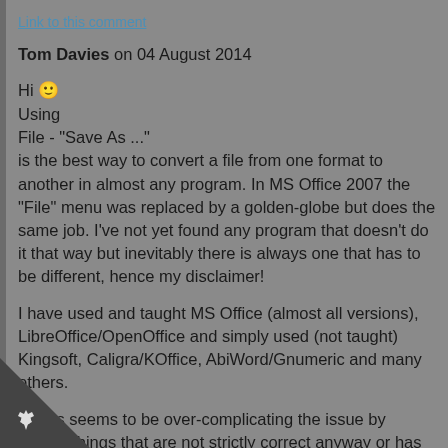Link to this comment
Tom Davies on 04 August 2014
Hi 🙂
Using
File - "Save As ..."
is the best way to convert a file from one format to another in almost any program. In MS Office 2007 the "File" menu was replaced by a golden-globe but does the same job. I've not yet found any program that doesn't do it that way but inevitably there is always one that has to be different, hence my disclaimer!
I have used and taught MS Office (almost all versions), LibreOffice/OpenOffice and simply used (not taught) Kingsoft, Caligra/KOffice, AbiWord/Gnumeric and many others.
Angus seems to be over-complicating the issue by adding things that are not strictly correct anyway or has just enough truth but takes it sideways and spins it und until it becomes just plain wrong.